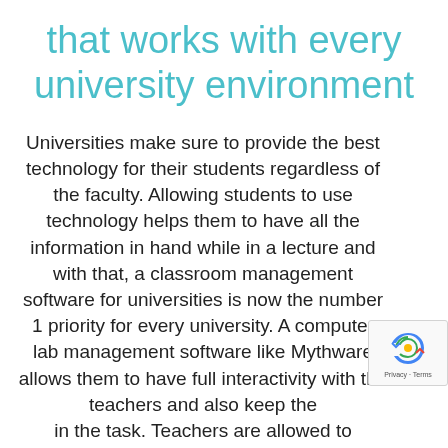that works with every university environment
Universities make sure to provide the best technology for their students regardless of the faculty. Allowing students to use technology helps them to have all the information in hand while in a lecture and with that, a classroom management software for universities is now the number 1 priority for every university. A computer lab management software like Mythware allows them to have full interactivity with the teachers and also keep the in the task. Teachers are allowed to monitor, control and communicate with the students with the help of